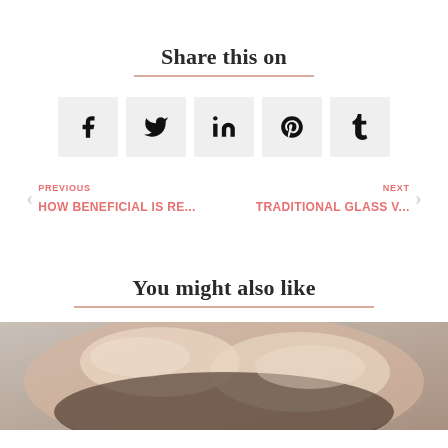Share this on
[Figure (infographic): Row of 5 social media share buttons: Facebook, Twitter, LinkedIn, Pinterest, Tumblr icons in light grey square boxes]
PREVIOUS HOW BENEFICIAL IS RE... TRADITIONAL GLASS V... NEXT
You might also like
[Figure (photo): A medical professional wearing gloves examining or treating a patient's head/scalp area]